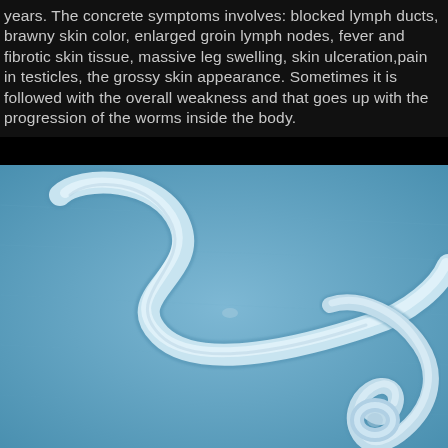years. The concrete symptoms involves: blocked lymph ducts, brawny skin color, enlarged groin lymph nodes, fever and fibrotic skin tissue, massive leg swelling, skin ulceration,pain in testicles, the grossy skin appearance. Sometimes it is followed with the overall weakness and that goes up with the progression of the worms inside the body.
[Figure (photo): Microscopic photograph of filarial worms (nematodes) on a blue background. Two worm specimens are visible — one large worm in a sinuous S-curve shape across the upper portion, and a smaller worm with a coiled tail in the lower right. The image has a blue-tinted, translucent microscopy appearance.]